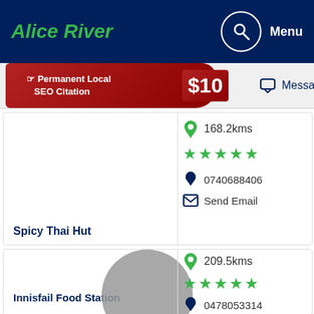Alice River
[Figure (infographic): Permanent Local SEO Citation $10 ad banner with red ribbon design and Message button]
[Figure (infographic): Listing card for Spicy Thai Hut: 168.2kms, 5 stars, phone 0740688406, Send Email]
[Figure (infographic): Listing card for Innisfail Food Station: 209.5kms, 5 stars, phone 0478053314, Send Email, Message, with gray circle overlay]